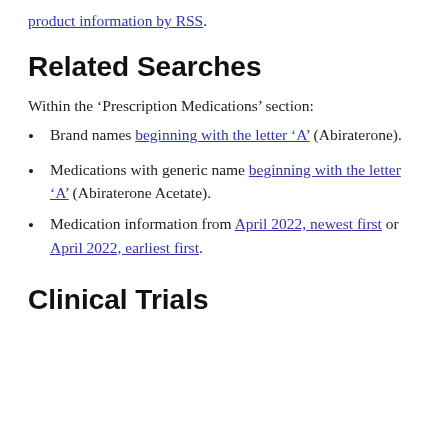product information by RSS.
Related Searches
Within the ‘Prescription Medications’ section:
Brand names beginning with the letter ‘A’ (Abiraterone).
Medications with generic name beginning with the letter ‘A’ (Abiraterone Acetate).
Medication information from April 2022, newest first or April 2022, earliest first.
Clinical Trials